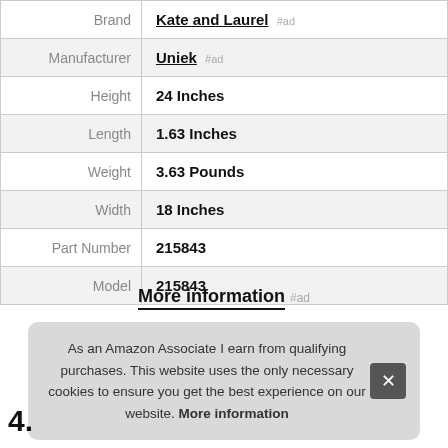| Brand | Kate and Laurel #ad |
| Manufacturer | Uniek #ad |
| Height | 24 Inches |
| Length | 1.63 Inches |
| Weight | 3.63 Pounds |
| Width | 18 Inches |
| Part Number | 215843 |
| Model | 215843 |
More information #ad
As an Amazon Associate I earn from qualifying purchases. This website uses the only necessary cookies to ensure you get the best experience on our website. More information